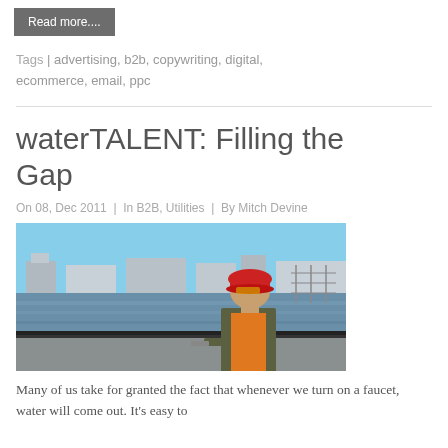Read more....
Tags | advertising, b2b, copywriting, digital, ecommerce, email, ppc
waterTALENT: Filling the Gap
On 08, Dec 2011 | In B2B, Utilities | By Mitch Devine
[Figure (photo): A water treatment plant worker wearing a red hard hat and orange safety vest, looking at equipment near water treatment basins.]
Many of us take for granted the fact that whenever we turn on a faucet, water will come out. It's easy to